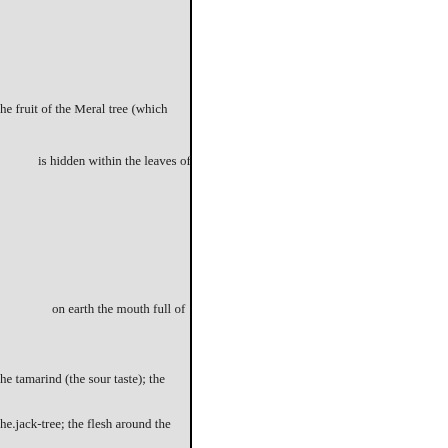he fruit of the Meral tree (which
is hidden within the leaves of
on earth the mouth full of
he tamarind (the sour taste); the
he.jack-tree; the flesh around the